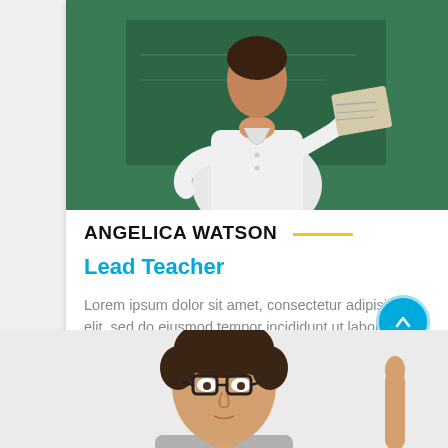[Figure (photo): Photo of a teacher (Angelica Watson) in white shirt reading a newspaper in front of a green chalkboard]
ANGELICA WATSON
Lead Teacher
Lorem ipsum dolor sit amet, consectetur adipisicing elit, sed do eiusmod tempor incididunt ut labore...
[Figure (photo): Photo of a young man with glasses looking upward, partially visible at bottom of page. Another person's raised finger visible at right edge.]